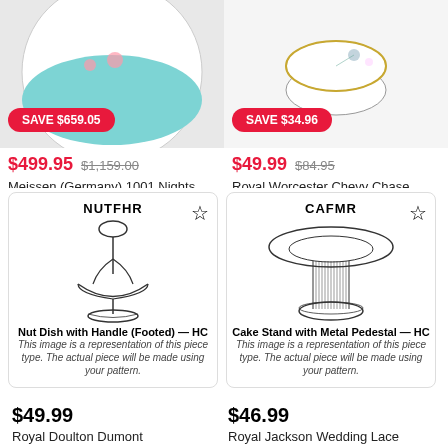[Figure (photo): Meissen 1001 Nights Bread & Butter Plate with teal illustration, save badge $659.05]
[Figure (photo): Royal Worcester Chevy Chase Sugar Bowl & Lid with floral pattern, save badge $34.96]
$499.95  $1,159.00
$49.99  $84.95
Meissen (Germany) 1001 Nights Bread & Butter Plate
Royal Worcester Chevy Chase Sugar Bowl & Lid
Replacements, Ltd.
Replacements, Ltd.
[Figure (illustration): Line art of Nut Dish with Handle (Footed) — HC, labeled NUTFHR]
[Figure (illustration): Line art of Cake Stand with Metal Pedestal — HC, labeled CAFMR]
$49.99
$46.99
Royal Doulton Dumont
Royal Jackson Wedding Lace